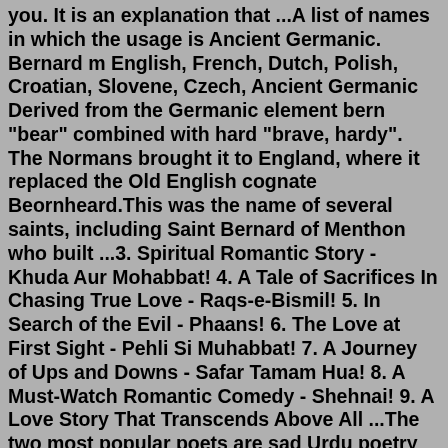you. It is an explanation that ...A list of names in which the usage is Ancient Germanic. Bernard m English, French, Dutch, Polish, Croatian, Slovene, Czech, Ancient Germanic Derived from the Germanic element bern "bear" combined with hard "brave, hardy". The Normans brought it to England, where it replaced the Old English cognate Beornheard.This was the name of several saints, including Saint Bernard of Menthon who built ...3. Spiritual Romantic Story - Khuda Aur Mohabbat! 4. A Tale of Sacrifices In Chasing True Love - Raqs-e-Bismil! 5. In Search of the Evil - Phaans! 6. The Love at First Sight - Pehli Si Muhabbat! 7. A Journey of Ups and Downs - Safar Tamam Hua! 8. A Must-Watch Romantic Comedy - Shehnai! 9. A Love Story That Transcends Above All ...The two most popular poets are sad Urdu poetry and Urdu romantic poetry . These are the most searchable themes in poetry . Girls want to feel or to compose a husband. matthew hussey engagement. itchy rash around waistline treatment ... Pashto written sad poetry; libra employee; ispy v2 free ...